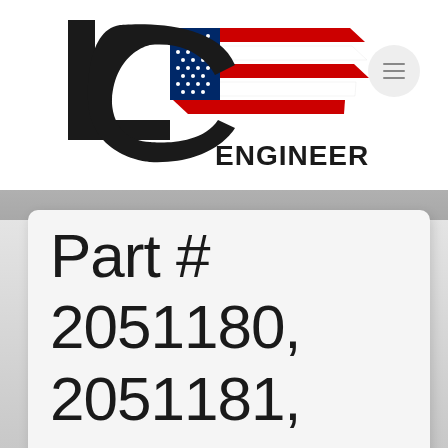[Figure (logo): LC Engineering logo with American flag design and stylized 'LC' letters in black with red, white, and blue flag stripes, text 'ENGINEERING' in bold]
Part # 2051180, 2051181, 2051182 –